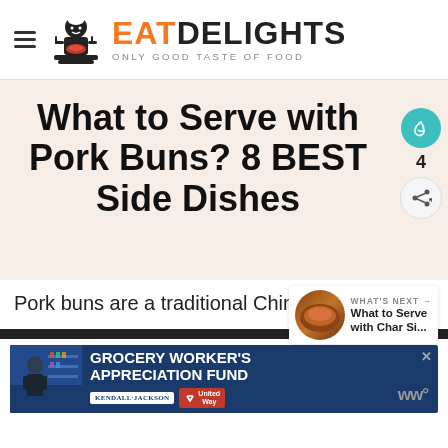EAT DELIGHTS — ONLY GOOD TASTE OF FOOD
What to Serve with Pork Buns? 8 BEST Side Dishes
Pork buns are a traditional Chinese dish.
[Figure (screenshot): What's Next widget showing thumbnail and text: What to Serve with Char Si...]
[Figure (infographic): Advertisement banner: GROCERY WORKER'S APPRECIATION FUND with Kendall Jackson and United Way logos]